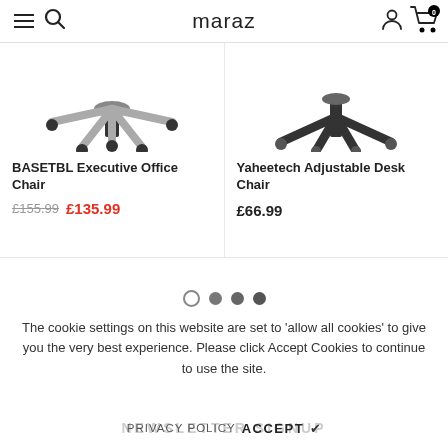maraz
[Figure (photo): Bottom part of an office chair base with casters and central column, black color]
BASETBL Executive Office Chair
£155.99  £135.99
[Figure (photo): Bottom part of a desk chair with legs and casters, black color]
Yaheetech Adjustable Desk Chair
£66.99
The cookie settings on this website are set to 'allow all cookies' to give you the very best experience. Please click Accept Cookies to continue to use the site.
PRIVACY POLICY  ACCEPT ✔